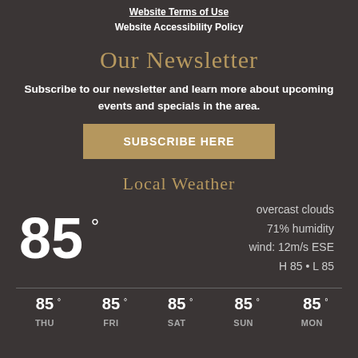Website Terms of Use
Website Accessibility Policy
Our Newsletter
Subscribe to our newsletter and learn more about upcoming events and specials in the area.
SUBSCRIBE HERE
Local Weather
85°
overcast clouds
71% humidity
wind: 12m/s ESE
H 85 • L 85
| THU | FRI | SAT | SUN | MON |
| --- | --- | --- | --- | --- |
| 85° | 85° | 85° | 85° | 85° |